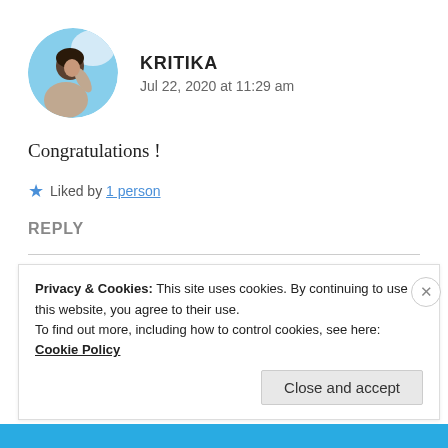[Figure (photo): Circular avatar photo of a person (Kritika) against a blue sky background]
KRITIKA
Jul 22, 2020 at 11:29 am
Congratulations !
★ Liked by 1 person
REPLY
Privacy & Cookies: This site uses cookies. By continuing to use this website, you agree to their use.
To find out more, including how to control cookies, see here: Cookie Policy
Close and accept